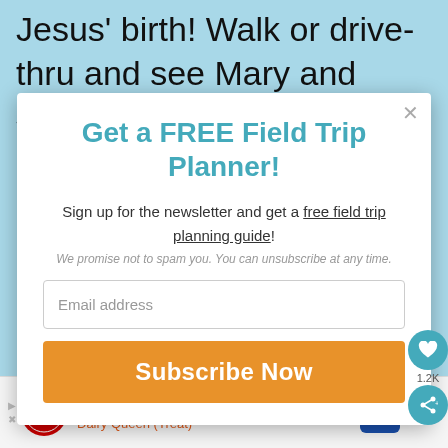Jesus' birth! Walk or drive-thru and see Mary and Joseph's long journey, the
Get a FREE Field Trip Planner!
Sign up for the newsletter and get a free field trip planning guide!
We promise not to spam you. You can unsubscribe at any time.
Email address
Subscribe Now
1.2K
Reese's Take 5 Blizzard® Dairy Queen (Treat)